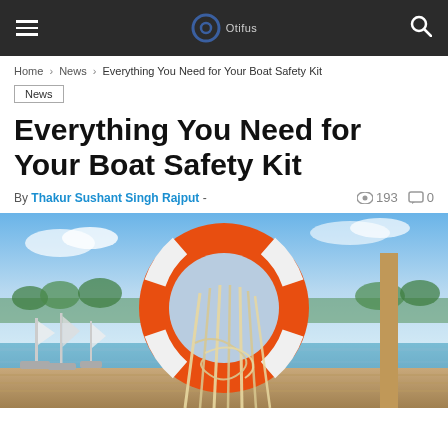Navigation bar with hamburger menu, logo, and search icon
Home > News > Everything You Need for Your Boat Safety Kit
News
Everything You Need for Your Boat Safety Kit
By Thakur Sushant Singh Rajput - 193 views 0 comments
[Figure (photo): Orange life preserver ring with ropes hanging through it, set against a marina background with sailboats and blue sky]